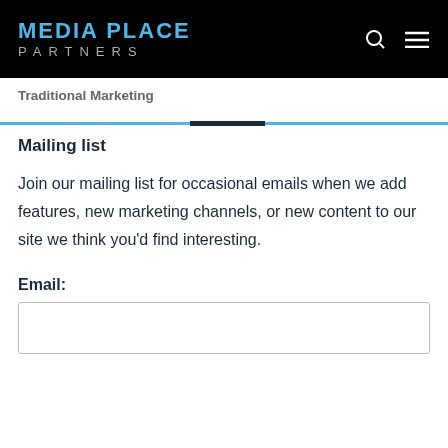MEDIA PLACE PARTNERS
Traditional Marketing
Mailing list
Join our mailing list for occasional emails when we add features, new marketing channels, or new content to our site we think you'd find interesting.
Email: